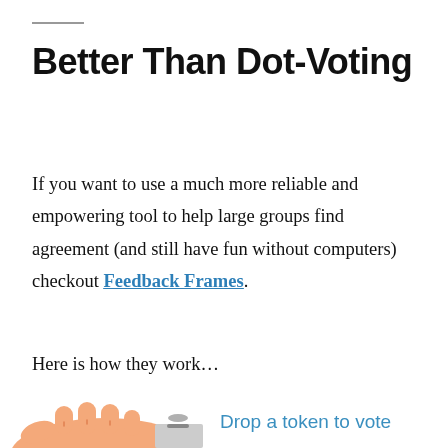Better Than Dot-Voting
If you want to use a much more reliable and empowering tool to help large groups find agreement (and still have fun without computers) checkout Feedback Frames.
Here is how they work…
[Figure (illustration): A hand dropping a token into a slot, with text 'Drop a token to vote' beside the illustration]